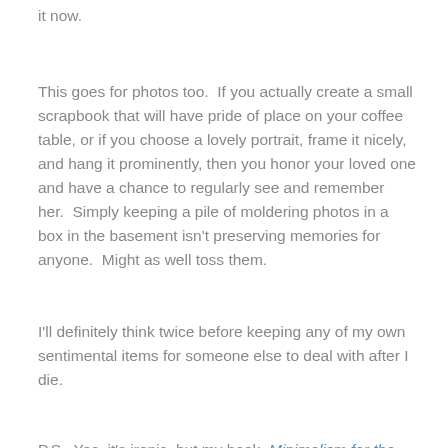it now.
This goes for photos too.  If you actually create a small scrapbook that will have pride of place on your coffee table, or if you choose a lovely portrait, frame it nicely, and hang it prominently, then you honor your loved one and have a chance to regularly see and remember her.  Simply keeping a pile of moldering photos in a box in the basement isn't preserving memories for anyone.  Might as well toss them.
I'll definitely think twice before keeping any of my own sentimental items for someone else to deal with after I die.
P.S.  Yes, it's ironic, but my book, Minimalism for the Holidays, is currently being offered at 51% off in the Kindle edition.  This